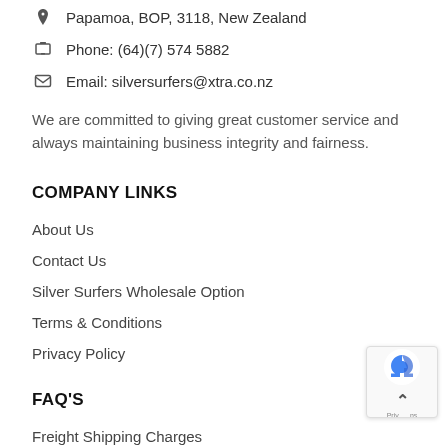📍 Papamoa, BOP, 3118, New Zealand
Phone: (64)(7) 574 5882
Email: silversurfers@xtra.co.nz
We are committed to giving great customer service and always maintaining business integrity and fairness.
COMPANY LINKS
About Us
Contact Us
Silver Surfers Wholesale Option
Terms & Conditions
Privacy Policy
FAQ'S
Freight Shipping Charges